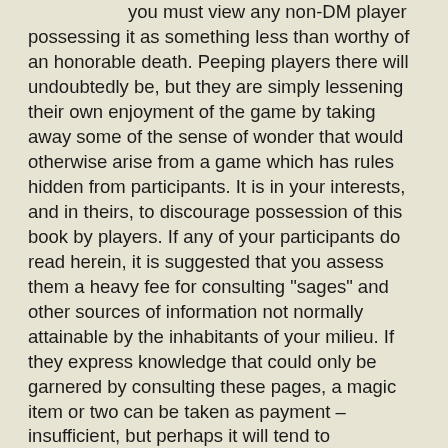you must view any non-DM player possessing it as something less than worthy of an honorable death. Peeping players there will undoubtedly be, but they are simply lessening their own enjoyment of the game by taking away some of the sense of wonder that would otherwise arise from a game which has rules hidden from participants. It is in your interests, and in theirs, to discourage possession of this book by players. If any of your participants do read herein, it is suggested that you assess them a heavy fee for consulting "sages" and other sources of information not normally attainable by the inhabitants of your milieu. If they express knowledge that could only be garnered by consulting these pages, a magic item or two can be taken as payment – insufficient, but perhaps it will tend to discourage such actions.
I'm genuinely torn between thinking the whole paragraph in jest and thinking that Gygax was being completely serious. Like the Dungeon Masters Guide itself, the paragraph contains both genuine wisdom and absurd bluster. In my